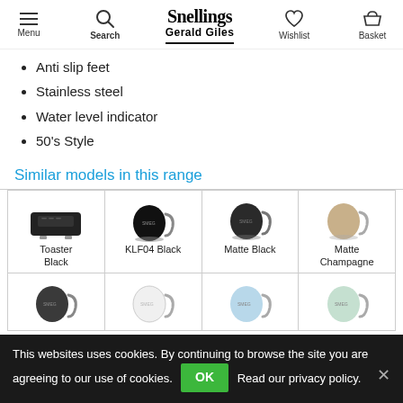Snellings Gerald Giles — Menu, Search, Wishlist, Basket
Anti slip feet
Stainless steel
Water level indicator
50's Style
Similar models in this range
[Figure (other): Product grid showing similar kettle/toaster models: Toaster Black, KLF04 Black, Matte Black, Matte Champagne, and partially visible bottom row of additional models]
This websites uses cookies. By continuing to browse the site you are agreeing to our use of cookies. OK Read our privacy policy.